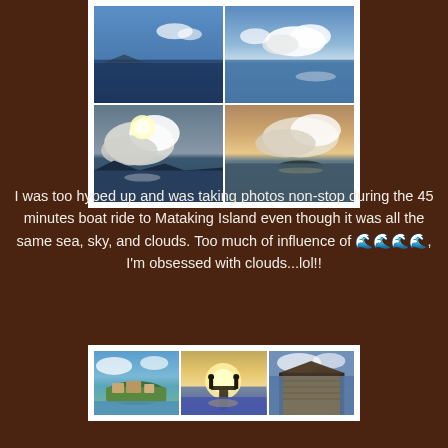[Figure (photo): 2x2 grid collage of sea, sky, and cloud photos taken during boat ride to Mataking Island]
I was too hyped up and was taking photos non-stop during the 45 minutes boat ride to Mataking Island even though it was all the same sea, sky, and clouds. Too much of influence of 🌊🌊🌊🌊, I'm obsessed with clouds...lol!!
[Figure (photo): 1x3 grid of Mataking Island arrival photos showing island view, pier with silhouettes, and dock/entrance]
After traveling for 20 hours by flights, cabs, van, and boat, I finally arrived Mataking Island at 5.30pm! Pheww...what a long journey!! We received a warm welcome by the hotel staff playing guitar and singing, wet towel to freshen up, and lemonade as welcoming drink. Haha...felt like I was in the